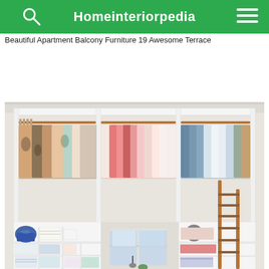Homeinteriorpedia
Beautiful Apartment Balcony Furniture 19 Awesome Terrace
[Figure (photo): An open walk-in closet with white shelving units spanning the full width. Three sections feature copper hanging rods holding a large collection of hanging clothes including colorful tops, white shirts, and blue/grey shirts. Below the hanging rods are open cubbies containing folded towels, a blue handbag, boxes, and accessories. A wooden/copper ladder leans against the right section for accessing upper shelves. A window is visible through the center opening.]